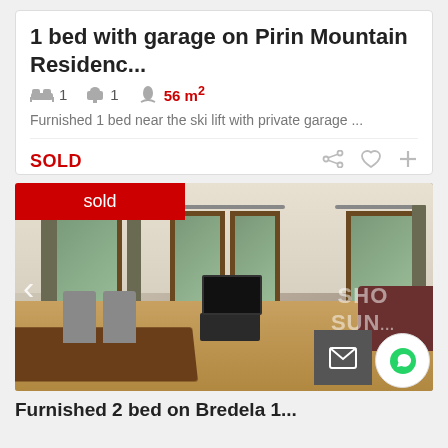1 bed with garage on Pirin Mountain Residenc...
🛏 1  🚿 1  👤 56 m²
Furnished 1 bed near the ski lift with private garage ...
SOLD
[Figure (photo): Interior photo of a furnished apartment living/dining room with large windows, curtains, dining table and chairs, TV stand, and hardwood floor. Red 'sold' banner overlay in top left. Navigation arrow on left. Watermark 'SHO SUN...' visible. Email and chat buttons in bottom right corner.]
Furnished 2 bed on Bredela 1...